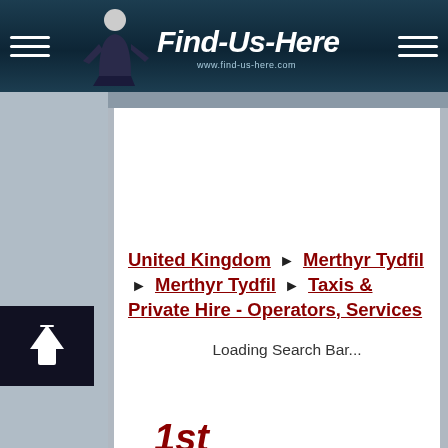Find-Us-Here www.find-us-here.com
United Kingdom ► Merthyr Tydfil ► Merthyr Tydfil ► Taxis & Private Hire - Operators, Services
Loading Search Bar...
1st